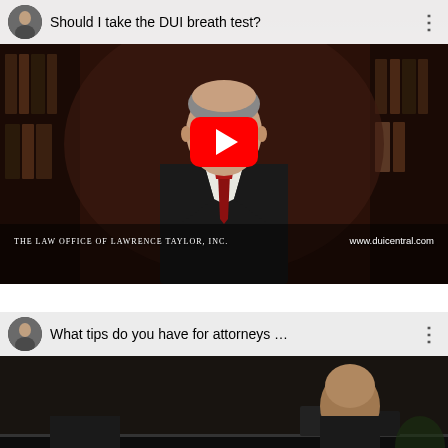[Figure (screenshot): YouTube video thumbnail showing 'Should I take the DUI breath test?' with a man in a suit and tie against a dark background with bookshelves. The Law Office of Lawrence Taylor, Inc. branding and www.duicentral.com shown at bottom. Red YouTube play button in center.]
[Figure (screenshot): YouTube video thumbnail showing 'What tips do you have for attorneys ...' with a man in a dimly lit room setting.]